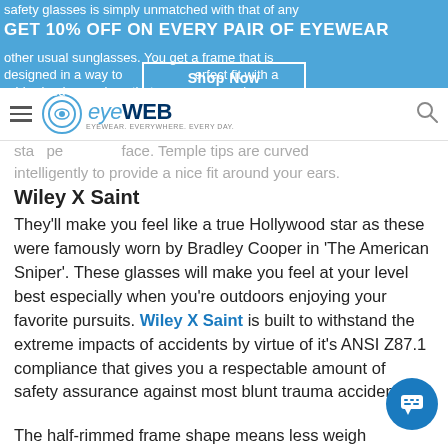safety glasses is simply unmatched with that of any other usual sunglasses. You get a frame that is designed in a way to ensure a perfect fit with a rubberized nosepiece that ensures your glasses stay perfectly on your face. Temple tips are curved intelligently to provide a nice fit around your ears.
[Figure (logo): EyeWeb logo with circular icon and text]
Wiley X Saint
They'll make you feel like a true Hollywood star as these were famously worn by Bradley Cooper in 'The American Sniper'. These glasses will make you feel at your level best especially when you're outdoors enjoying your favorite pursuits. Wiley X Saint is built to withstand the extreme impacts of accidents by virtue of it's ANSI Z87.1 compliance that gives you a respectable amount of safety assurance against most blunt trauma accidents.
The half-rimmed frame shape means less weight on